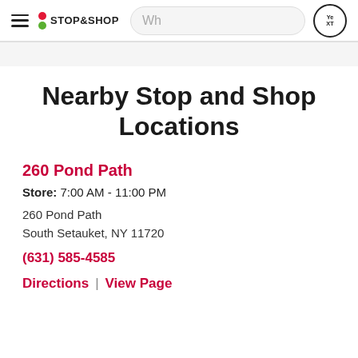Stop & Shop — Navigation bar with hamburger menu, logo, search bar, and Yext badge
Nearby Stop and Shop Locations
260 Pond Path
Store: 7:00 AM - 11:00 PM
260 Pond Path
South Setauket, NY 11720
(631) 585-4585
Directions | View Page